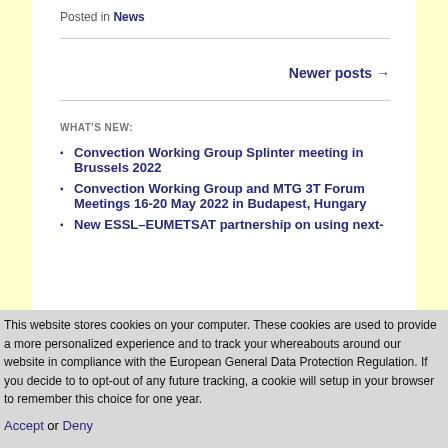Posted in News
Newer posts →
WHAT'S NEW:
Convection Working Group Splinter meeting in Brussels 2022
Convection Working Group and MTG 3T Forum Meetings 16-20 May 2022 in Budapest, Hungary
New ESSL–EUMETSAT partnership on using next-
This website stores cookies on your computer. These cookies are used to provide a more personalized experience and to track your whereabouts around our website in compliance with the European General Data Protection Regulation. If you decide to to opt-out of any future tracking, a cookie will setup in your browser to remember this choice for one year.
Accept or Deny